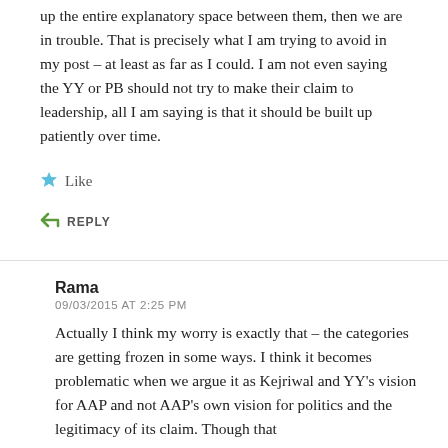up the entire explanatory space between them, then we are in trouble. That is precisely what I am trying to avoid in my post – at least as far as I could. I am not even saying the YY or PB should not try to make their claim to leadership, all I am saying is that it should be built up patiently over time.
Like
REPLY
Rama
09/03/2015 AT 2:25 PM
Actually I think my worry is exactly that – the categories are getting frozen in some ways. I think it becomes problematic when we argue it as Kejriwal and YY's vision for AAP and not AAP's own vision for politics and the legitimacy of its claim. Though that